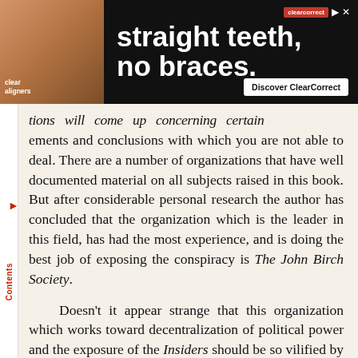[Figure (other): Advertisement banner for ClearCorrect clear aligners with text 'straight teeth, no braces.' and a 'Discover ClearCorrect' button on a dark background.]
tions will come up concerning certain elements and conclusions with which you are not able to deal. There are a number of organizations that have well documented material on all subjects raised in this book. But after considerable personal research the author has concluded that the organization which is the leader in this field, has had the most experience, and is doing the best job of exposing the conspiracy is The John Birch Society.
Doesn't it appear strange that this organization which works toward decentralization of political power and the exposure of the Insiders should be so vilified by the mass media, while the Council On Foreign Relations, which promotes centralization of power in the hands of a few within a world government, is practically never mentioned? So contact The John Birch Society for further back up